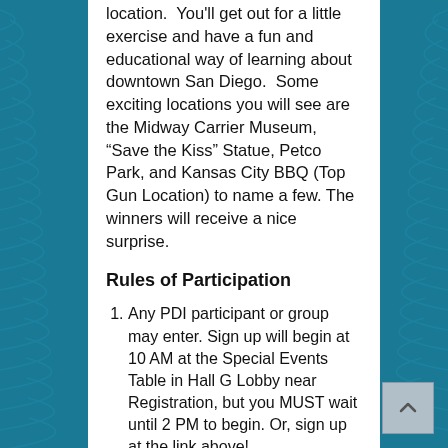location.  You'll get out for a little exercise and have a fun and educational way of learning about downtown San Diego.  Some exciting locations you will see are the Midway Carrier Museum, “Save the Kiss” Statue, Petco Park, and Kansas City BBQ (Top Gun Location) to name a few. The winners will receive a nice surprise.
Rules of Participation
Any PDI participant or group may enter. Sign up will begin at 10 AM at the Special Events Table in Hall G Lobby near Registration, but you MUST wait until 2 PM to begin. Or, sign up at the link above!
Take a picture of yourself in front of each location (selfie time!).  Must be taken at the location and not from a